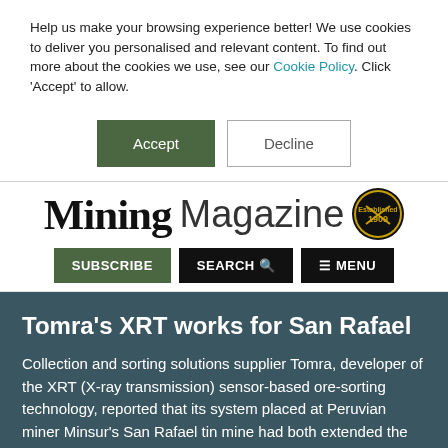Help us make your browsing experience better! We use cookies to deliver you personalised and relevant content. To find out more about the cookies we use, see our Cookie Policy. Click 'Accept' to allow.
[Figure (other): Two buttons: green Accept button and white Decline button]
[Figure (logo): Mining Magazine logo with established 1909 badge]
[Figure (other): Navigation buttons: SUBSCRIBE (green), SEARCH (black), MENU (black)]
Tomra's XRT works for San Rafael
Collection and sorting solutions supplier Tomra, developer of the XRT (X-ray transmission) sensor-based ore-sorting technology, reported that its system placed at Peruvian miner Minsur's San Rafael tin mine had both extended the mine's life and boosted its